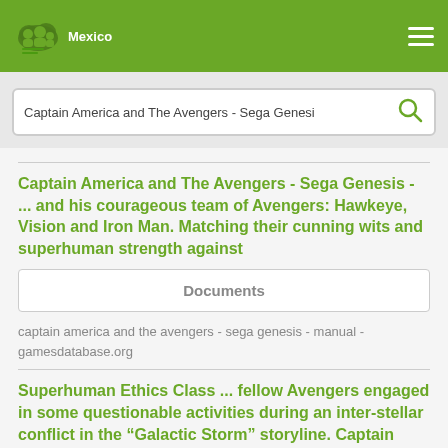Mexico
Captain America and The Avengers - Sega Genesi
Captain America and The Avengers - Sega Genesis - ... and his courageous team of Avengers: Hawkeye, Vision and Iron Man. Matching their cunning wits and superhuman strength against
Documents
captain america and the avengers - sega genesis - manual - gamesdatabase.org
Superhuman Ethics Class ... fellow Avengers engaged in some questionable activities during an inter-stellar conflict in the “Galactic Storm” storyline. Captain